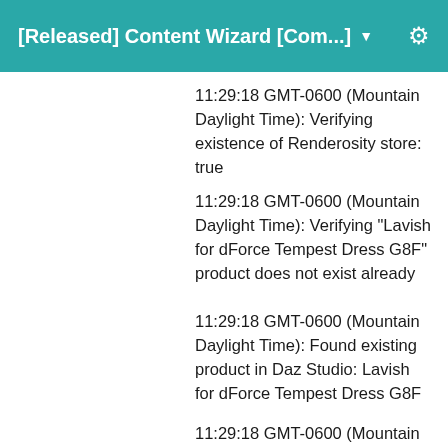[Released] Content Wizard [Com... ▼
11:29:18 GMT-0600 (Mountain Daylight Time): Verifying existence of Renderosity store: true
11:29:18 GMT-0600 (Mountain Daylight Time): Verifying "Lavish for dForce Tempest Dress G8F" product does not exist already
11:29:18 GMT-0600 (Mountain Daylight Time): Found existing product in Daz Studio: Lavish for dForce Tempest Dress G8F
11:29:18 GMT-0600 (Mountain Daylight Time): Product: Lavish for dForce Tempest Dress G8F